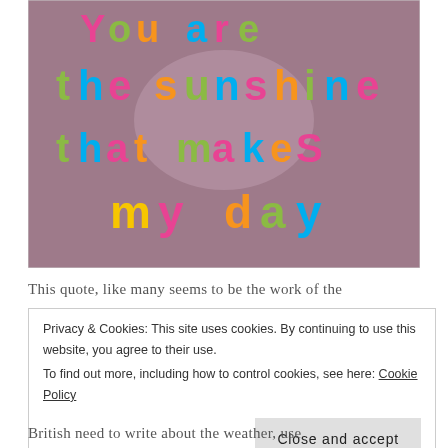[Figure (photo): Photo of colorful fridge magnet letters on a pinkish-purple surface spelling out 'You are the sunshine that makes my day']
This quote, like many seems to be the work of the
Privacy & Cookies: This site uses cookies. By continuing to use this website, you agree to their use. To find out more, including how to control cookies, see here: Cookie Policy
Close and accept
British need to write about the weather, use